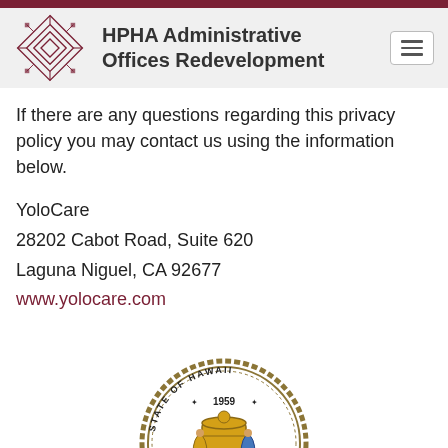HPHA Administrative Offices Redevelopment
If there are any questions regarding this privacy policy you may contact us using the information below.
YoloCare
28202 Cabot Road, Suite 620
Laguna Niguel, CA 92677
www.yolocare.com
[Figure (logo): State of Hawaii official seal, circular, dated 1959, with state coat of arms in center]